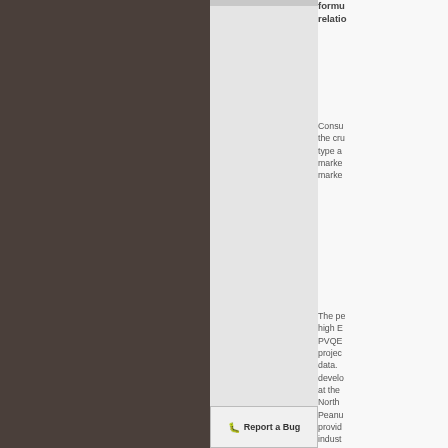formu
relatio
Consu the cru type a marke marke
The pe high E PVQE projec data. develo at the North Peanu provid indust annua at univ state o
Report a Bug